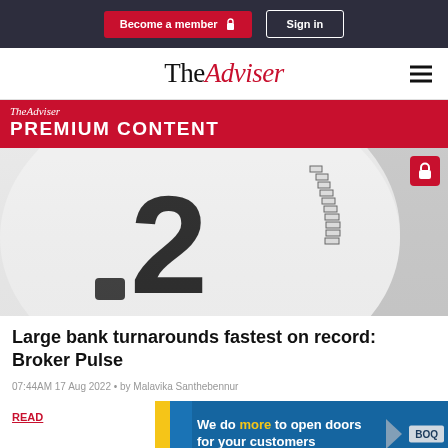Become a member  Sign in
TheAdviser
TheAdviser PREMIUM CONTENT
[Figure (photo): Close-up photograph of a clock face showing the number 2 and tick marks. A lock icon badge is visible in the top-right corner indicating premium content.]
Large bank turnarounds fastest on record: Broker Pulse
07:44AM 17 Aug 2022 • by Malavika Santhebennur
READ MORE
[Figure (infographic): BOQ advertisement banner reading 'We do more to open doors for your customers' with yellow and blue colour scheme and BOQ logo.]